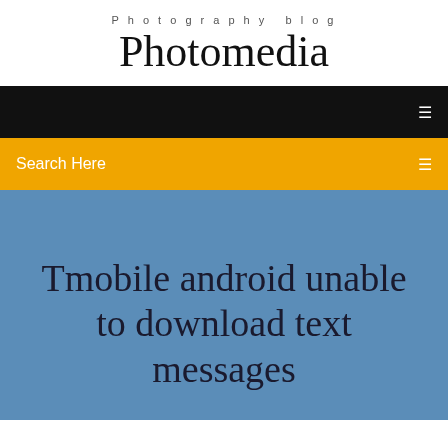Photography blog
Photomedia
Search Here
Tmobile android unable to download text messages